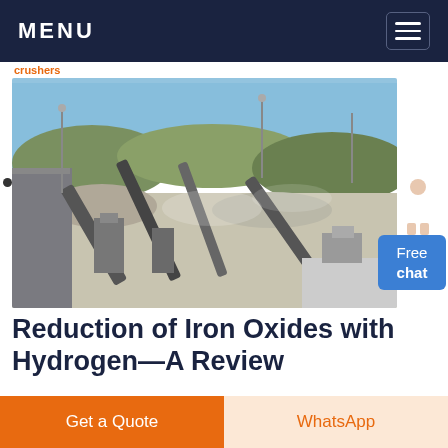MENU
[Figure (photo): Aerial/ground-level view of an industrial mining or ore processing facility with conveyor belts, machinery, crushed rock piles, and hills in the background under a clear sky.]
Reduction of Iron Oxides with Hydrogen—A Review
Reduction with hydrogen in the best case produced via renewable energies is a future-minded alternative to